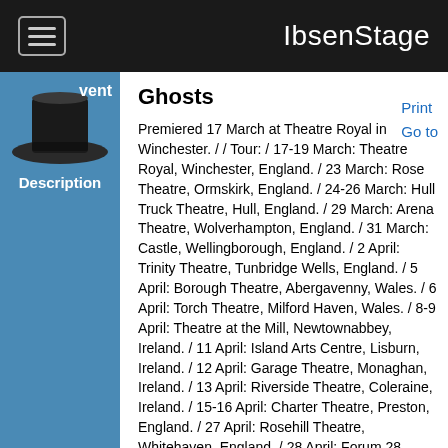IbsenStage
Ghosts
Premiered 17 March at Theatre Royal in Winchester. / / Tour: / 17-19 March: Theatre Royal, Winchester, England. / 23 March: Rose Theatre, Ormskirk, England. / 24-26 March: Hull Truck Theatre, Hull, England. / 29 March: Arena Theatre, Wolverhampton, England. / 31 March: Castle, Wellingborough, England. / 2 April: Trinity Theatre, Tunbridge Wells, England. / 5 April: Borough Theatre, Abergavenny, Wales. / 6 April: Torch Theatre, Milford Haven, Wales. / 8-9 April: Theatre at the Mill, Newtownabbey, Ireland. / 11 April: Island Arts Centre, Lisburn, Ireland. / 12 April: Garage Theatre, Monaghan, Ireland. / 13 April: Riverside Theatre, Coleraine, Ireland. / 15-16 April: Charter Theatre, Preston, England. / 27 April: Rosehill Theatre, Whitehaven, England. / 28 April: Forum 28, Barrow-in-Furness, England. / 30 April: Eastgate Arts, Peebles, Scotland. / 3 May: Landmark Theatre, Ilfracombe, England. / 4 May: The Lights, Andover, England. / 5 May: Coliseum, Aberdare, Wales. / 7 May: Courtyard Theatre, Hereford, England. / 10 May: Old Town Hall, Hemel Hempstead, England. / 12-14 May: Clwyd